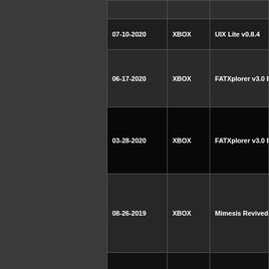| Date | Platform | Title |
| --- | --- | --- |
|  |  |  |
| 07-10-2020 | XBOX | UIX Lite v0.8.4 |
| 06-17-2020 | XBOX | FATXplorer v3.0 Bet... |
| 03-28-2020 | XBOX | FATXplorer v3.0 Bet... |
| 08-26-2019 | XBOX | Mimesis Revived 3.2... |
| 07-03-2018 | XBOX | Mimesis Revived 3.2... |